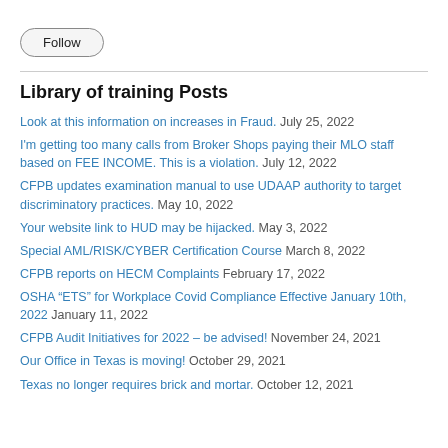[Figure (other): Follow button with rounded rectangle border]
Library of training Posts
Look at this information on increases in Fraud. July 25, 2022
I'm getting too many calls from Broker Shops paying their MLO staff based on FEE INCOME. This is a violation. July 12, 2022
CFPB updates examination manual to use UDAAP authority to target discriminatory practices. May 10, 2022
Your website link to HUD may be hijacked. May 3, 2022
Special AML/RISK/CYBER Certification Course March 8, 2022
CFPB reports on HECM Complaints February 17, 2022
OSHA “ETS” for Workplace Covid Compliance Effective January 10th, 2022 January 11, 2022
CFPB Audit Initiatives for 2022 – be advised! November 24, 2021
Our Office in Texas is moving! October 29, 2021
Texas no longer requires brick and mortar. October 12, 2021